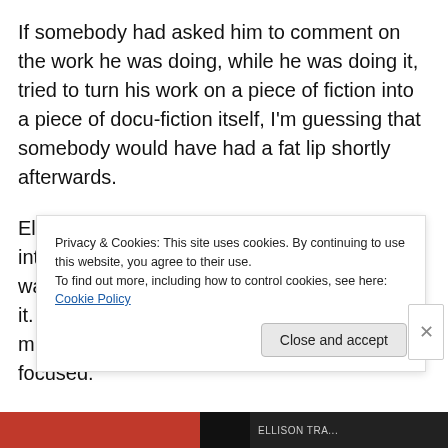If somebody had asked him to comment on the work he was doing, while he was doing it, tried to turn his work on a piece of fiction into a piece of docu-fiction itself, I'm guessing that somebody would have had a fat lip shortly afterwards.
Ellison's point was that he could get so deeply into what he was doing, it didn't matter that he was being eyeballed by hundreds while he did it.  He didn't need an ivory tower, because his mind was the tower.  Few can claim to be that focused.
Privacy & Cookies: This site uses cookies. By continuing to use this website, you agree to their use.
To find out more, including how to control cookies, see here: Cookie Policy